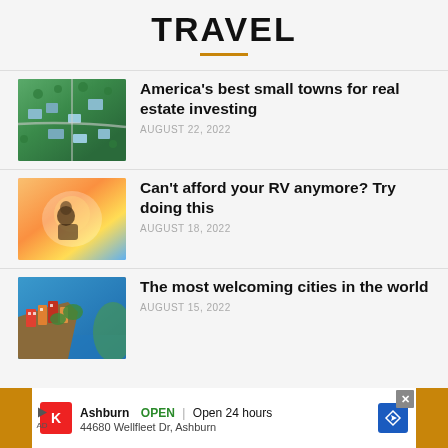TRAVEL
[Figure (photo): Aerial view of small town with green trees and houses]
America’s best small towns for real estate investing
AUGUST 22, 2022
[Figure (photo): Person sitting in RV looking out window at sunset]
Can’t afford your RV anymore? Try doing this
AUGUST 18, 2022
[Figure (photo): Colorful cliffside town by the sea]
The most welcoming cities in the world
AUGUST 15, 2022
Ashburn OPEN | Open 24 hours
44680 Wellfleet Dr, Ashburn